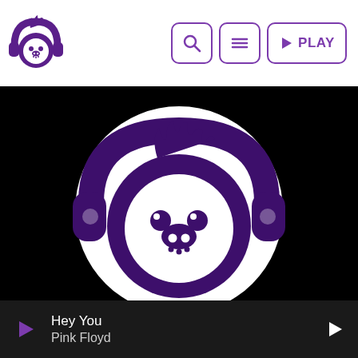[Figure (logo): Monkey with headphones logo in purple, small version for header]
[Figure (other): Three navigation buttons: search magnifier, hamburger menu, and PLAY button with right-triangle icon, all with purple border outlines]
[Figure (logo): Large purple and white monkey with headphones logo centered on black background]
Hey You
Pink Floyd
[Figure (other): Purple play triangle button on left, chevron/arrow right button on right of player bar]